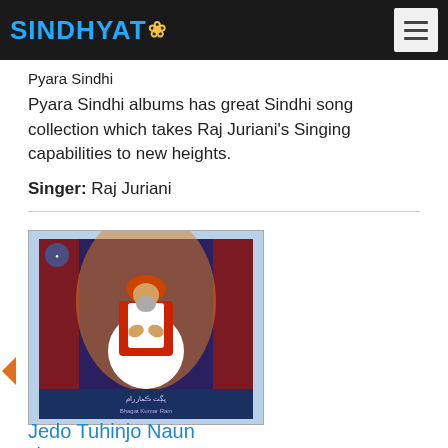SINDHYAT
Pyara Sindhi
Pyara Sindhi albums has great Sindhi song collection which takes Raj Juriani's Singing capabilities to new heights.
Singer: Raj Juriani
[Figure (photo): Album cover showing a religious figure in red attire seated in prayer position with an ornate illustrated background. Text at bottom in Sindhi/Urdu script reads 'Bhagat Kumar Ram'.]
Jedo Tuhinjo Naun
Bhagat Kumar Ram